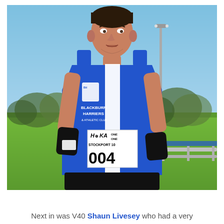[Figure (photo): A male runner wearing a Blackburn Harriers & Athletic Club blue and white singlet, race number bib reading 'HOKA ONE ONE STOCKPORT 10' with number 004, black gloves, standing at what appears to be a road race event. Green sports field and trees in background.]
Next in was V40 Shaun Livesey who had a very